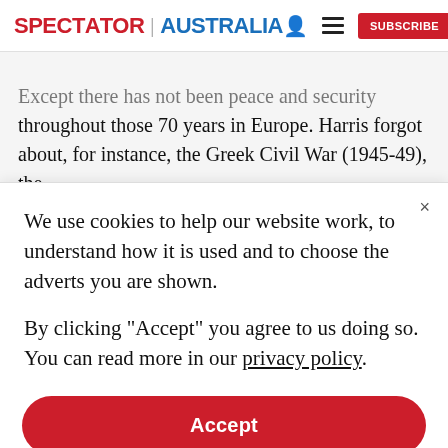SPECTATOR | AUSTRALIA  [person icon] [menu icon]  SUBSCRIBE
Except there has not been peace and security throughout those 70 years in Europe. Harris forgot about, for instance, the Greek Civil War (1945-49), the Hungarian Revolution (1956), Operation Danube that saw the Warsaw Pact countries invade Czechoslovakia (1968), Turkish invasion of Cyprus (1974), and...
We use cookies to help our website work, to understand how it is used and to choose the adverts you are shown.
By clicking "Accept" you agree to us doing so. You can read more in our privacy policy.
Accept